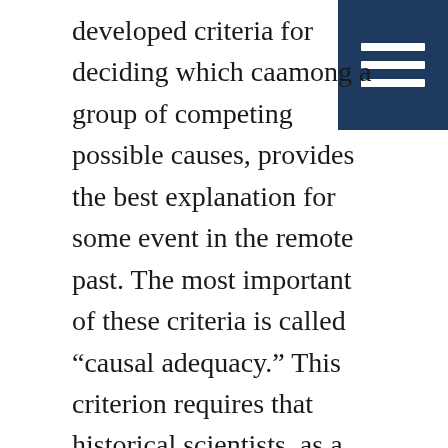[Figure (other): Dark navy blue rectangle in top-right corner containing three horizontal white lines (hamburger/menu icon)]
developed criteria for deciding which cause, among a group of competing possible causes, provides the best explanation for some event in the remote past. The most important of these criteria is called “causal adequacy.” This criterion requires that historical scientists, as a condition of a successful explanation, identify causes that are known to have the power to produce the kind of effect, feature or event that requires explanation. In making these determinations, historical scientists evaluate hypotheses against their present knowledge of cause and effect. Causes that are known to produce the effect in question